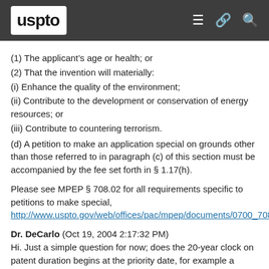uspto
(1) The applicant's age or health; or
(2) That the invention will materially:
(i) Enhance the quality of the environment;
(ii) Contribute to the development or conservation of energy resources; or
(iii) Contribute to countering terrorism.
(d) A petition to make an application special on grounds other than those referred to in paragraph (c) of this section must be accompanied by the fee set forth in § 1.17(h).
Please see MPEP § 708.02 for all requirements specific to petitions to make special, http://www.uspto.gov/web/offices/pac/mpep/documents/0700_708_02.htm#sect708.02
Dr. DeCarlo (Oct 19, 2004 2:17:32 PM)
Hi. Just a simple question for now; does the 20-year clock on patent duration begins at the priority date, for example a provisional patent receipt, or from when?